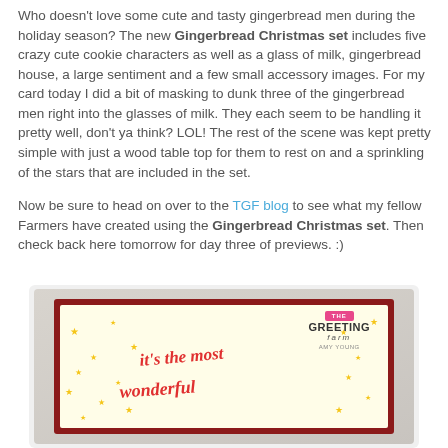Who doesn't love some cute and tasty gingerbread men during the holiday season? The new Gingerbread Christmas set includes five crazy cute cookie characters as well as a glass of milk, gingerbread house, a large sentiment and a few small accessory images. For my card today I did a bit of masking to dunk three of the gingerbread men right into the glasses of milk. They each seem to be handling it pretty well, don't ya think? LOL! The rest of the scene was kept pretty simple with just a wood table top for them to rest on and a sprinkling of the stars that are included in the set.
Now be sure to head on over to the TGF blog to see what my fellow Farmers have created using the Gingerbread Christmas set. Then check back here tomorrow for day three of previews. :)
[Figure (photo): A greeting card featuring The Greeting Farm logo at top right with pink banner, and colorful cursive text reading 'it's the most wonderful' with star decorations on a cream background, surrounded by a dark red border, placed on a light gray wood-grain background.]